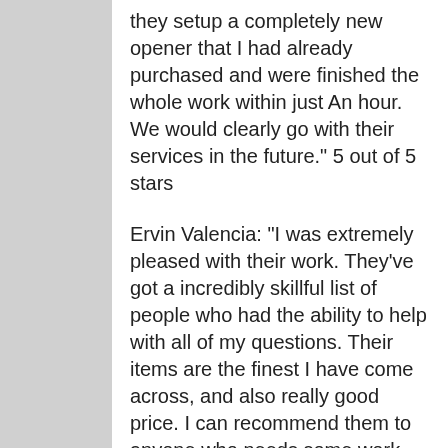they setup a completely new opener that I had already purchased and were finished the whole work within just An hour. We would clearly go with their services in the future." 5 out of 5 stars
Ervin Valencia: "I was extremely pleased with their work. They've got a incredibly skillful list of people who had the ability to help with all of my questions. Their items are the finest I have come across, and also really good price. I can recommend them to anyone who needs some work done." 5 out of 5 stars
Randy Carver: "I waited Three weeks to refer to someone with this repair job because I was concerned it is a lot of money. As I rang these people and described the things I required,